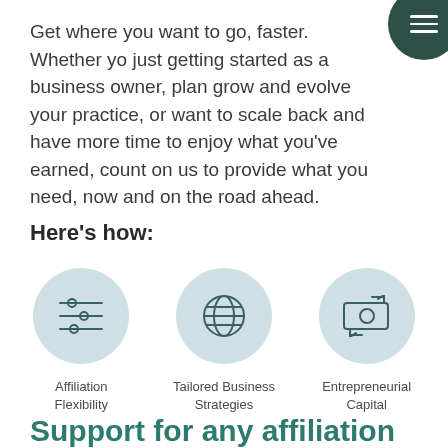Get where you want to go, faster. Whether you just getting started as a business owner, planning to grow and evolve your practice, or want to scale back and have more time to enjoy what you've earned, count on us to provide what you need, now and on the road ahead.
Here's how:
[Figure (illustration): Three circular icons representing: 1) Affiliation Flexibility - sliders icon, 2) Tailored Business Strategies - globe/sphere icon, 3) Entrepreneurial Capital - money/cash with arrows icon]
Affiliation Flexibility
Tailored Business Strategies
Entrepreneurial Capital
Support for any affiliation